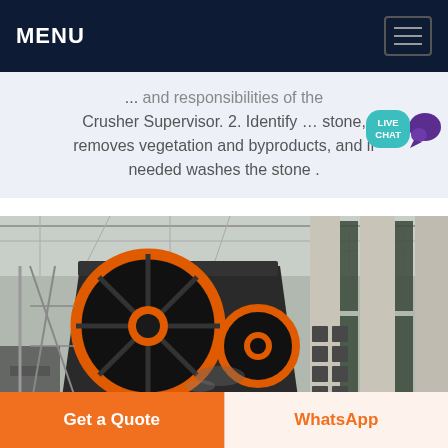MENU
... Crusher Supervisor. 2. Identify … stone, removes vegetation and byproducts, and if needed washes the stone .
[Figure (photo): Industrial jaw crusher machine inside a large factory/warehouse building. The crusher has a large black body with orange flywheel/pulley wheels. Steel structure and large windows visible in background.]
Get a Quote
WhatsApp